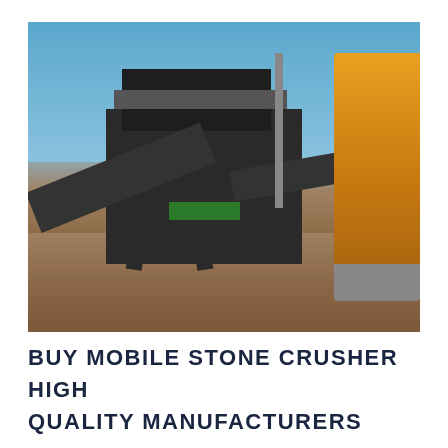[Figure (photo): Outdoor photograph of a large mobile stone crusher machine — a dark gray industrial multi-deck screening and crushing plant with conveyor belts, support legs, and elevated platform, set on bare reddish-brown earth under a clear blue sky. An orange Escorts excavator arm is visible on the right edge of the frame.]
BUY MOBILE STONE CRUSHER HIGH QUALITY MANUFACTURERS